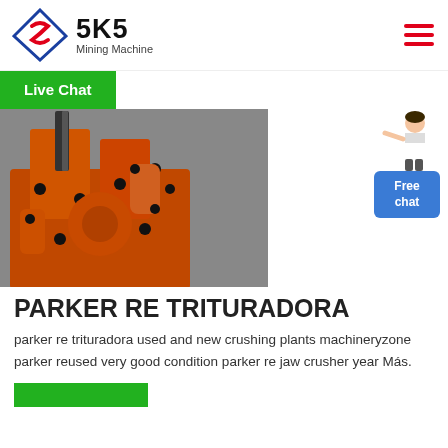SKS Mining Machine
Live Chat
[Figure (photo): Close-up photograph of orange industrial jaw crusher machinery parts with black bolts and metallic components on a grey background.]
[Figure (illustration): Free chat widget with a person illustration and a blue button labeled 'Free chat']
PARKER RE TRITURADORA
parker re trituradora used and new crushing plants machineryzone parker reused very good condition parker re jaw crusher year Más.